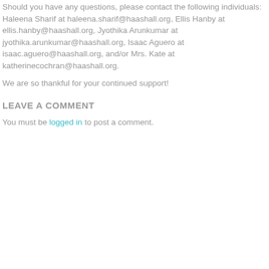Should you have any questions, please contact the following individuals: Haleena Sharif at haleena.sharif@haashall.org, Ellis Hanby at ellis.hanby@haashall.org, Jyothika Arunkumar at jyothika.arunkumar@haashall.org, Isaac Aguero at isaac.aguero@haashall.org, and/or Mrs. Kate at katherinecochran@haashall.org.
We are so thankful for your continued support!
LEAVE A COMMENT
You must be logged in to post a comment.